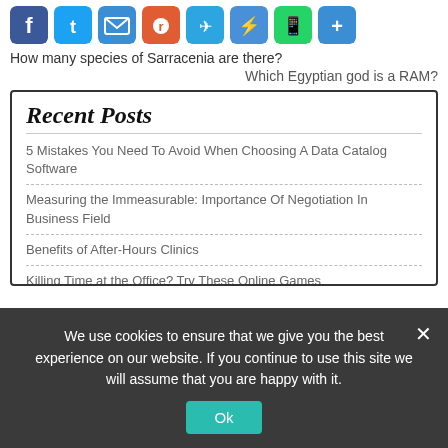[Figure (other): Row of social media sharing icons: Facebook (blue), Twitter (blue), Email (blue), Reddit (orange), Telegram (blue), Messenger (blue), WhatsApp (green), Share (blue)]
How many species of Sarracenia are there?
Which Egyptian god is a RAM?
Recent Posts
5 Mistakes You Need To Avoid When Choosing A Data Catalog Software
Measuring the Immeasurable: Importance Of Negotiation In Business Field
Benefits of After-Hours Clinics
Killing Time at the Office? Try These Online Games
We use cookies to ensure that we give you the best experience on our website. If you continue to use this site we will assume that you are happy with it.